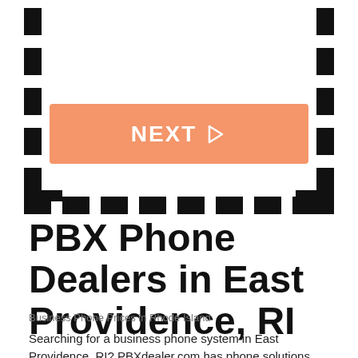[Figure (other): Film strip frame border with dashed lines on sides and bottom, containing an orange NEXT button with play arrow]
PBX Phone Dealers in East Providence, RI
Business Phone Prices in Rhode Island
Searching for a business phone system in East Providence, RI? PBXdealer.com has phone solutions specifically designed for businesses of all sizes. Would you like to